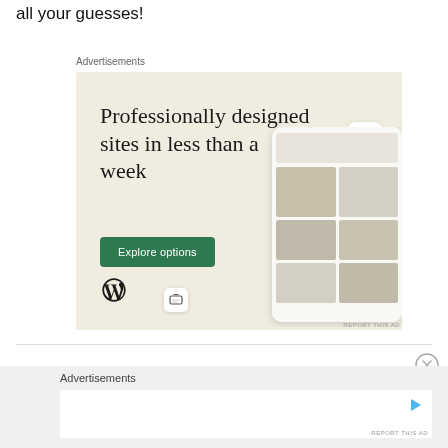all your guesses!
Advertisements
[Figure (illustration): WordPress advertisement showing 'Professionally designed sites in less than a week' with an 'Explore options' button, WordPress logo, and website mockup screenshots on a beige background]
Advertisements
[Figure (illustration): Second advertisement box, mostly blank white with a play/arrow icon in the top right corner]